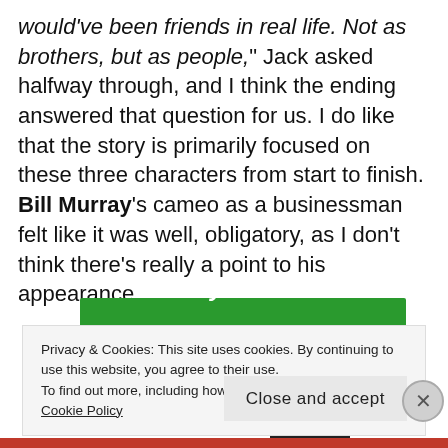would've been friends in real life. Not as brothers, but as people," Jack asked halfway through, and I think the ending answered that question for us. I do like that the story is primarily focused on these three characters from start to finish. Bill Murray's cameo as a businessman felt like it was well, obligatory, as I don't think there's really a point to his appearance.
[Figure (other): Green banner/button element partially visible]
Privacy & Cookies: This site uses cookies. By continuing to use this website, you agree to their use.
To find out more, including how to control cookies, see here: Cookie Policy
Close and accept